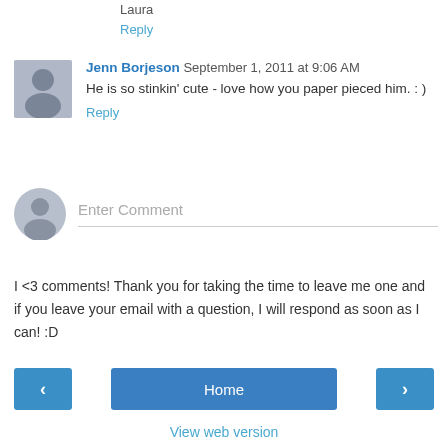Laura
Reply
Jenn Borjeson  September 1, 2011 at 9:06 AM
He is so stinkin' cute - love how you paper pieced him. : )
Reply
Enter Comment
I <3 comments! Thank you for taking the time to leave me one and if you leave your email with a question, I will respond as soon as I can! :D
Home
View web version